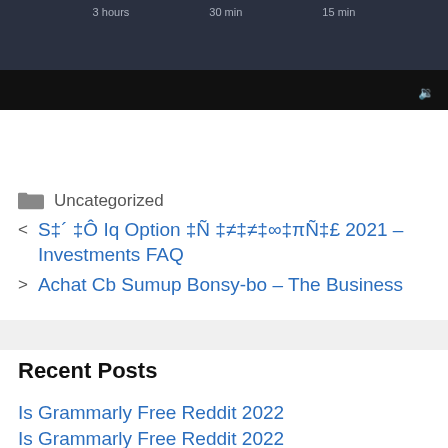[Figure (screenshot): Dark UI bar with time labels '3 hours', '30 min', '15 min' and a speaker icon, with black bottom strip]
Uncategorized
< S‡´ ‡Ô Iq Option ‡Ñ ‡≠‡≠‡∞‡πÑ‡£ 2021 – Investments FAQ
> Achat Cb Sumup Bonsy-bo – The Business
Recent Posts
Is Grammarly Free Reddit 2022
Is Grammarly Free Reddit 2022 (partial)